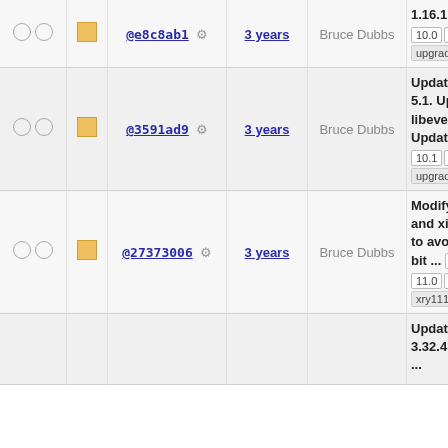| check | icon | hash | time | author | info |
| --- | --- | --- | --- | --- | --- |
| ○ ○ | ■ | @e8c8ab1 ⚙ | 3 years | Bruce Dubbs | 1.16.1. 0... 10.0 10... 11.1 11... lazarus upgraded xry111/int xry111/te... |
| ○ ○ | ■ | @3591ad9 ⚙ | 3 years | Bruce Dubbs | Update to 5.1. Upda... libevent-2... Update to 10.1 11... 11.2 9.4... lazarus upgraded xry111/int xry111/te... |
| ○ ○ | ■ | @27373006 ⚙ | 3 years | Bruce Dubbs | Modify xo and xinit to avoid u bit ... 10... 11.0 11... 9.1 laza... trunk u... xry111/int xry111/te... |
|  |  |  |  |  | Update to 3.32.4 git ... |